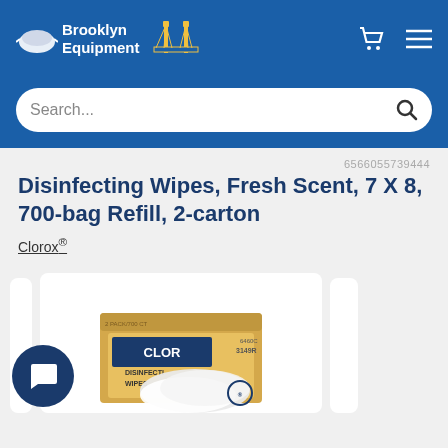Brooklyn Equipment
Search...
6566055739444
Disinfecting Wipes, Fresh Scent, 7 X 8, 700-bag Refill, 2-carton
Clorox®
[Figure (photo): Clorox Disinfecting Wipes product box with wipes bag visible, shown inside a white product image card. A circular dark blue chat bubble icon is also visible in the lower left.]